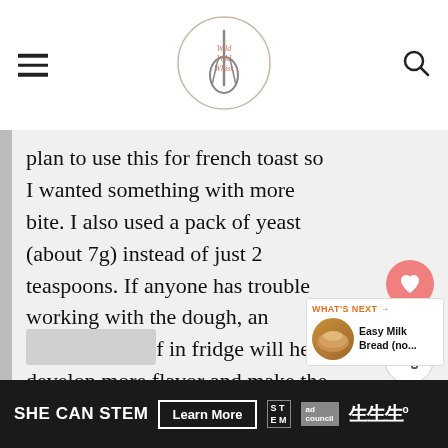Wild Wild Whisk
plan to use this for french toast so I wanted something with more bite. I also used a pack of yeast (about 7g) instead of just 2 teaspoons. If anyone has trouble working with the dough, an overnight proof in fridge will help develop more flavor and make the dough easier to work with the next morning. Turned out great!
4K
WHAT'S NEXT → Easy Milk Bread (no...
SHE CAN STEM  Learn More